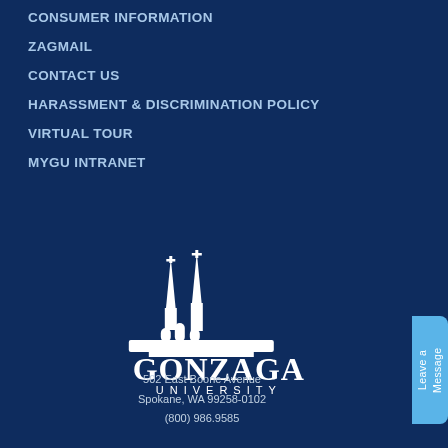CONSUMER INFORMATION
ZAGMAIL
CONTACT US
HARASSMENT & DISCRIMINATION POLICY
VIRTUAL TOUR
MYGU INTRANET
[Figure (logo): Gonzaga University logo: white silhouette of church spires above large text GONZAGA and spaced letters UNIVERSITY]
502 East Boone Avenue
Spokane, WA 99258-0102
(800) 986.9585
Leave a Message